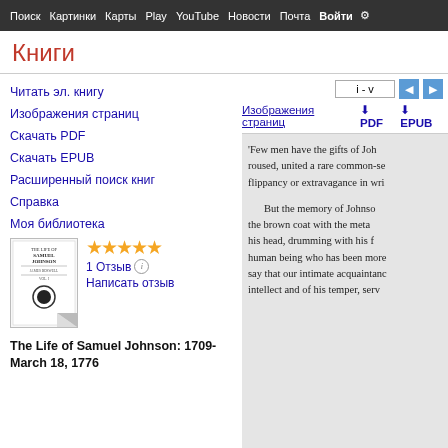Поиск  Картинки  Карты  Play  YouTube  Новости  Почта  Войти  Ещё
Книги
Читать эл. книгу
Изображения страниц
Скачать PDF
Скачать EPUB
Расширенный поиск книг
Справка
Моя библиотека
[Figure (illustration): Book cover of The Life of Samuel Johnson with circular emblem and folded corner]
★★★★★
1 Отзыв
Написать отзыв
The Life of Samuel Johnson: 1709-March 18, 1776
i - v
Изображения страниц   ⬇ PDF   ⬇ EPUB
'Few men have the gifts of Joh... roused, united a rare common-se... flippancy or extravagance in wri...
But the memory of Johnson... the brown coat with the meta... his head, drumming with his f... human being who has been more... say that our intimate acquaintanc... intellect and of his temper, serv...